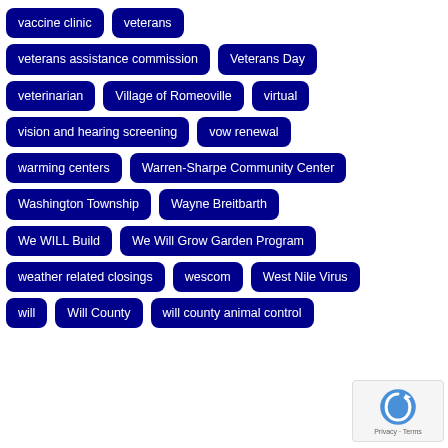vaccine clinic
veterans
veterans assistance commission
Veterans Day
veterinarian
Village of Romeoville
virtual
vision and hearing screening
vow renewal
warming centers
Warren-Sharpe Community Center
Washington Township
Wayne Breitbarth
We WILL Build
We Will Grow Garden Program
weather related closings
wescom
West Nile Virus
will
Will County
will county animal control